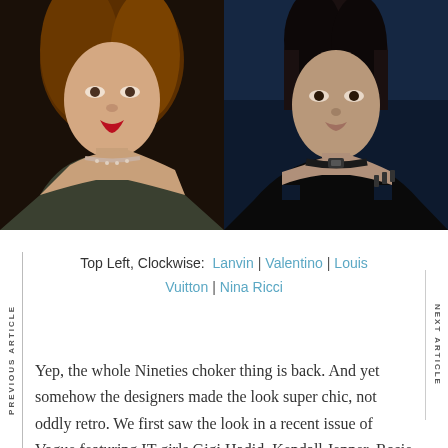[Figure (photo): Two fashion runway models side by side. Left: model with auburn hair wearing a dark green/grey leather top with a diamond choker necklace against a dark background. Right: model with short dark hair wearing a black sleeveless top with a black choker against a blue background.]
Top Left, Clockwise: Lanvin | Valentino | Louis Vuitton | Nina Ricci
Yep, the whole Nineties choker thing is back. And yet somehow the designers made the look super chic, not oddly retro. We first saw the look in a recent issue of Vogue featuring IT girls Gigi Hadid, Kendall Jenner, Rosie Huntington-Whiteley, Hailee Steinfeld, and